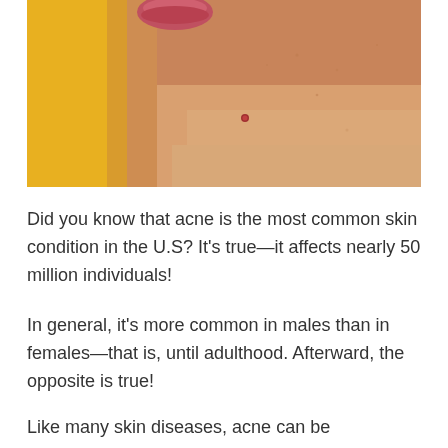[Figure (photo): Close-up photo of a person's lower face and jaw showing skin with a small blemish/acne spot, against a yellow background.]
Did you know that acne is the most common skin condition in the U.S? It's true—it affects nearly 50 million individuals!
In general, it's more common in males than in females—that is, until adulthood. Afterward, the opposite is true!
Like many skin diseases, acne can be